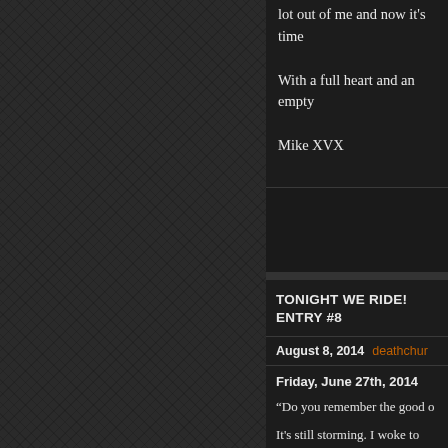lot out of me and now it's time
With a full heart and an empty
Mike XVX
TONIGHT WE RIDE! ENTRY #8
August 8, 2014   deathchur
Friday, June 27th, 2014
“Do you remember the good o
It's still storming. I woke to the push my luck of not being dis and push my bike up and ove of “making little noise as poss back end of my original camp me and quickly turns away, le